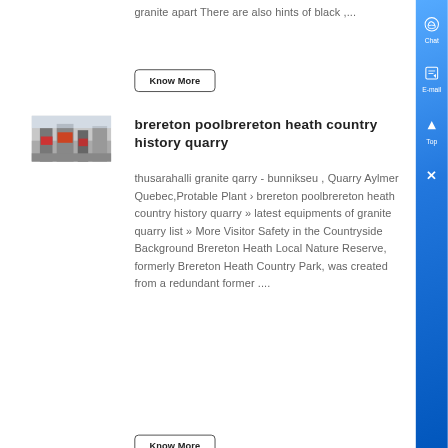granite apart There are also hints of black ,...
Know More
brereton poolbrereton heath country history quarry
[Figure (photo): Industrial facility interior with machinery and equipment]
thusarahalli granite qarry - bunnikseu , Quarry Aylmer Quebec,Protable Plant › brereton poolbrereton heath country history quarry » latest equipments of granite quarry list » More Visitor Safety in the Countryside Background Brereton Heath Local Nature Reserve, formerly Brereton Heath Country Park, was created from a redundant former ....
Know More